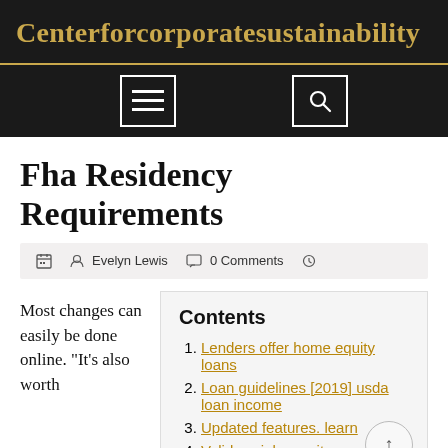Centerforcorporatesustainability
Fha Residency Requirements
Evelyn Lewis  0 Comments
Contents
Lenders offer home equity loans
Loan guidelines [2019] usda loan income
Updated features. learn
Valid social security number
Most changes can easily be done online. “It’s also worth